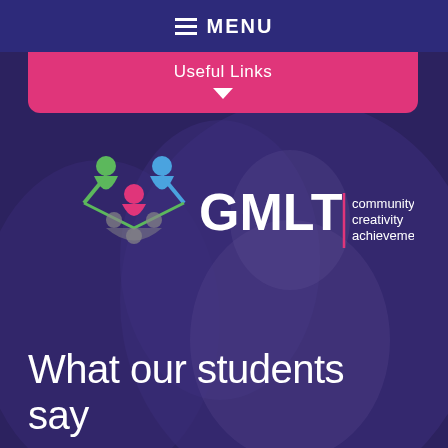MENU
Useful Links
[Figure (logo): GMLT logo with colorful figures and text reading 'GMLT community creativity achievement']
What our students say